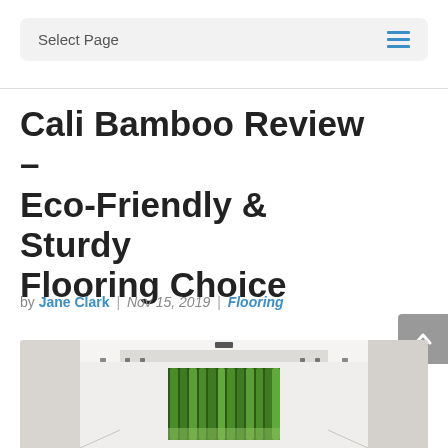Select Page
Cali Bamboo Review – Eco-Friendly & Sturdy Flooring Choice
by Jane Clark | Nov 15, 2019 | Flooring
[Figure (photo): Interior room with white walls and ceiling recesses, featuring a curtain or wall panel of vibrant green bamboo stalks illuminated from below, viewed from a corridor perspective.]